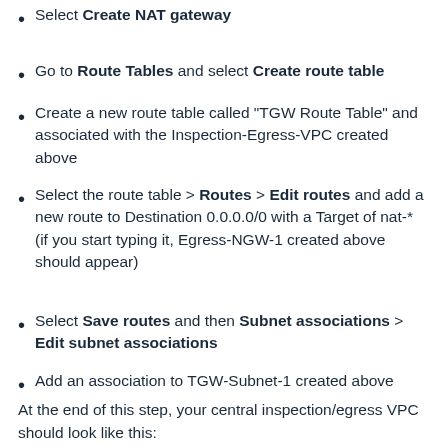Select Create NAT gateway
Go to Route Tables and select Create route table
Create a new route table called “TGW Route Table” and associated with the Inspection-Egress-VPC created above
Select the route table > Routes > Edit routes and add a new route to Destination 0.0.0.0/0 with a Target of nat-* (if you start typing it, Egress-NGW-1 created above should appear)
Select Save routes and then Subnet associations > Edit subnet associations
Add an association to TGW-Subnet-1 created above
At the end of this step, your central inspection/egress VPC should look like this: